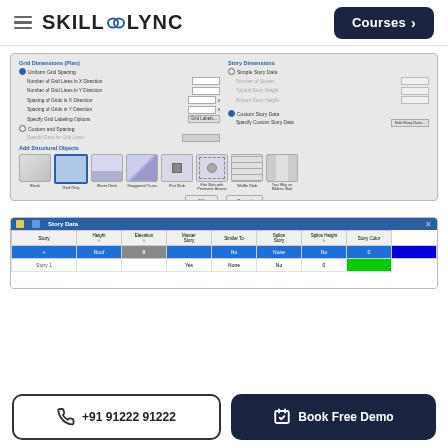SKILL LYNC | Courses
[Figure (screenshot): Software dialog showing Grid Dimensions (Plan) and Story Dimensions settings with structural object type selection icons including Blank, Grid Only, Sheet Deck, Staggered Truss, Flat Slab, Flat Slab with Perimeter Beams, Waffle Slab, Two Way or Ribbon Slab]
[Figure (screenshot): Story Data dialog table showing story information with columns: Story, Height, Elevation, Master Story, Similar To, Splice Story, Splice Height, Story Color with one highlighted row in blue]
+91 91222 91222
Book Free Demo